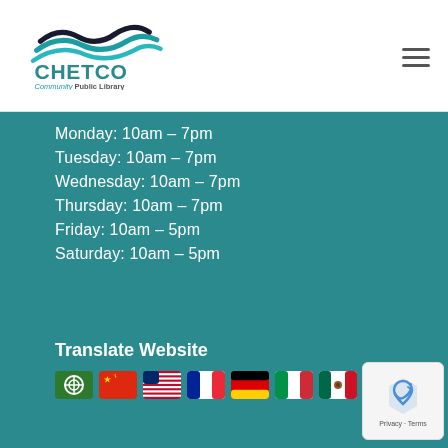[Figure (logo): Chetco Community Public Library logo with teal wave graphic above the text CHETCO in large teal letters and 'Community Public Library' in smaller text below]
Monday: 10am – 7pm
Tuesday: 10am – 7pm
Wednesday: 10am – 7pm
Thursday: 10am – 7pm
Friday: 10am – 5pm
Saturday: 10am – 5pm
Translate Website
[Figure (infographic): Row of country flag icons: Arabic/green, Chinese/red, American/USA, French, German, Italian, Mexican]